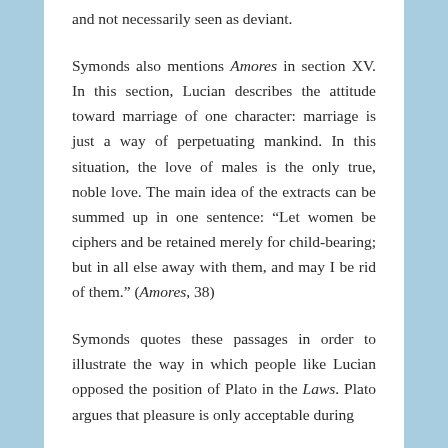and not necessarily seen as deviant.
Symonds also mentions Amores in section XV. In this section, Lucian describes the attitude toward marriage of one character: marriage is just a way of perpetuating mankind. In this situation, the love of males is the only true, noble love. The main idea of the extracts can be summed up in one sentence: “Let women be ciphers and be retained merely for child-bearing; but in all else away with them, and may I be rid of them.” (Amores, 38)
Symonds quotes these passages in order to illustrate the way in which people like Lucian opposed the position of Plato in the Laws. Plato argues that pleasure is only acceptable during